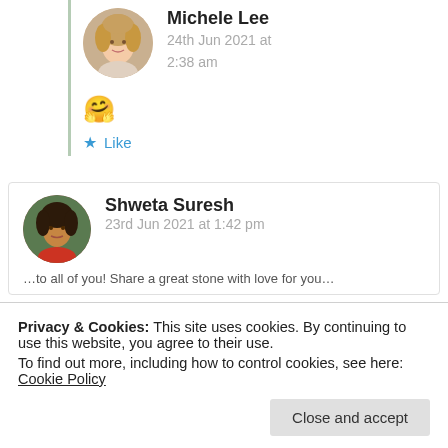Michele Lee
24th Jun 2021 at 2:38 am
🤗
★ Like
Shweta Suresh
23rd Jun 2021 at 1:42 pm
Privacy & Cookies: This site uses cookies. By continuing to use this website, you agree to their use.
To find out more, including how to control cookies, see here: Cookie Policy
Close and accept